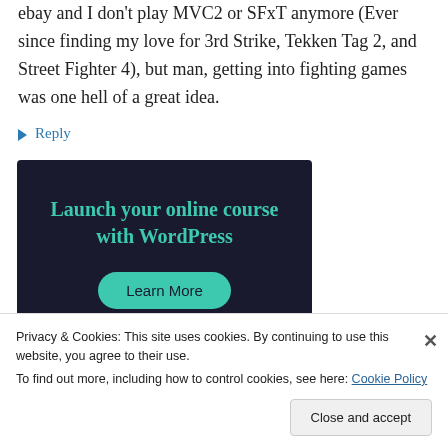ebay and I don't play MVC2 or SFxT anymore (Ever since finding my love for 3rd Strike, Tekken Tag 2, and Street Fighter 4), but man, getting into fighting games was one hell of a great idea.
↪ Reply
[Figure (infographic): Dark-background advertisement banner reading 'Launch your online course with WordPress' with a teal 'Learn More' button]
Privacy & Cookies: This site uses cookies. By continuing to use this website, you agree to their use.
To find out more, including how to control cookies, see here: Cookie Policy
Close and accept